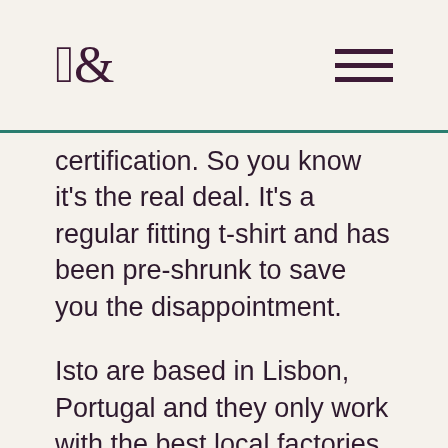G& [logo] [hamburger menu]
certification. So you know it's the real deal. It's a regular fitting t-shirt and has been pre-shrunk to save you the disappointment.
Isto are based in Lisbon, Portugal and they only work with the best local factories to keep their impact low. A brand that really cares about getting the simple things right. And it shows in their classic t-shirt.
They care about, and push